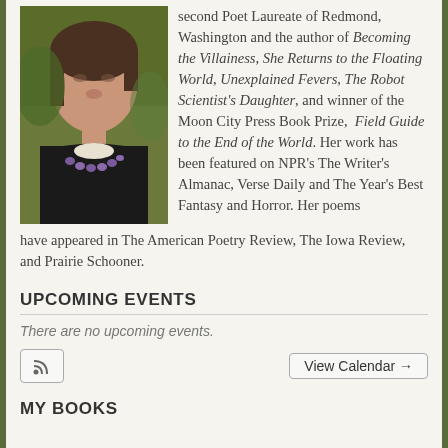[Figure (photo): Portrait photo of a young woman with short dark hair wearing a black top and purple beaded necklace, photographed outdoors]
second Poet Laureate of Redmond, Washington and the author of Becoming the Villainess, She Returns to the Floating World, Unexplained Fevers, The Robot Scientist's Daughter, and winner of the Moon City Press Book Prize, Field Guide to the End of the World. Her work has been featured on NPR's The Writer's Almanac, Verse Daily and The Year's Best Fantasy and Horror. Her poems have appeared in The American Poetry Review, The Iowa Review, and Prairie Schooner.
UPCOMING EVENTS
There are no upcoming events.
MY BOOKS